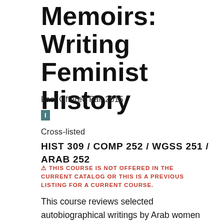Memoirs: Writing Feminist History
Last Offered Fall 2015
I
Cross-listed
HIST 309 / COMP 252 / WGSS 251 / ARAB 252
THIS COURSE IS NOT OFFERED IN THE CURRENT CATALOG OR THIS IS A PREVIOUS LISTING FOR A CURRENT COURSE.
This course reviews selected autobiographical writings by Arab women writers from the wave of independence in the 20th century to the contemporary Arab uprisings, passing through all the transformations that globalization and the technosphere have instigated. We will examine